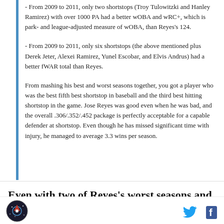- From 2009 to 2011, only two shortstops (Troy Tulowitzki and Hanley Ramirez) with over 1000 PA had a better wOBA and wRC+, which is park- and league-adjusted measure of wOBA, than Reyes's 124.
- From 2009 to 2011, only six shortstops (the above mentioned plus Derek Jeter, Alexei Ramirez, Yunel Escobar, and Elvis Andrus) had a better fWAR total than Reyes.
From mashing his best and worst seasons together, you got a player who was the best fifth best shortstop in baseball and the third best hitting shortstop in the game. Jose Reyes was good even when he was bad, and the overall .306/.352/.452 package is perfectly acceptable for a capable defender at shortstop. Even though he has missed significant time with injury, he managed to average 3.3 wins per season.
Even with two of Reyes's worst seasons and his best season mixed together, he was still one of the five or
[Figure (logo): Sports website logo — circular logo with rocket/baseball graphic]
[Figure (illustration): Twitter bird icon and Facebook 'f' icon in page footer]